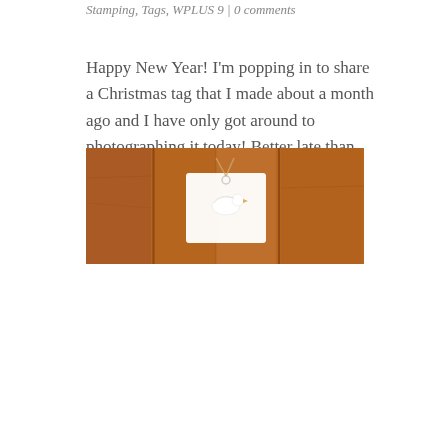Stamping, Tags, WPLUS 9 | 0 comments
Happy New Year! I'm popping in to share a Christmas tag that I made about a month ago and I have only got around to photographing it today! Better late than never. I hope you had a very Merry Christmas.
[Figure (photo): A Christmas gift tag with a white dove/bird embellishment on a warm brown wooden background. The tag appears to have twine or string attached.]